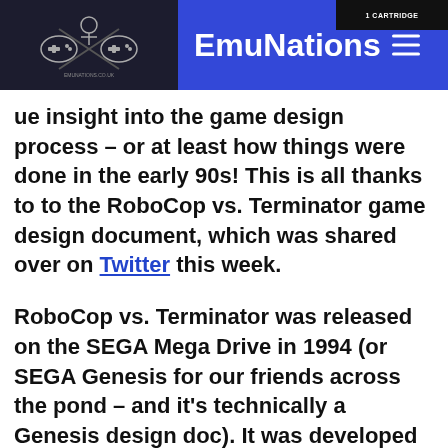EmuNations
insight into the game design process – or at least how things were done in the early 90s! This is all thanks to to the RoboCop vs. Terminator game design document, which was shared over on Twitter this week.
RoboCop vs. Terminator was released on the SEGA Mega Drive in 1994 (or SEGA Genesis for our friends across the pond – and it's technically a Genesis design doc). It was developed by Virgin Games USA and dstributed by Virgin Interactive Entertainment. Although the game was not critically-acclaimed, it was admired for its comic book-esque cinema sequences and – let's not forget